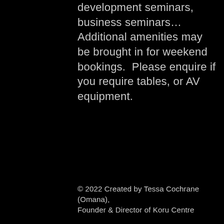development seminars, business seminars… Additional amenities may be brought in for weekend bookings. Please enquire if you require tables, or AV equipment.
© 2022 Created by Tessa Cochrane (Omana), Founder & Director of Koru Centre